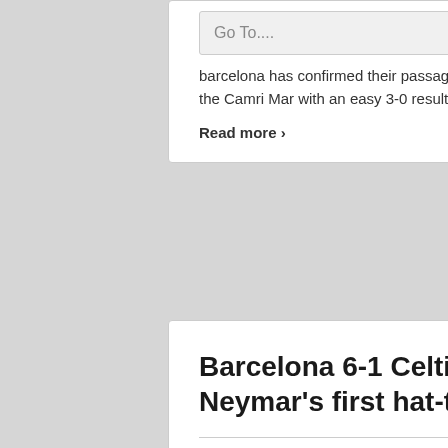barcelona has confirmed their passage into Copa del Rey last-16 stage, after beating Cartagena in the Camri Mar with an easy 3-0 result. ...
Read more ›
Barcelona 6-1 Celtic: Neymar's first hat-trick in Europe!
Posted by: neydmin Posted date: December 11, 2013 In: Neymar News: 2021-22 | comment : 0 Comments
[Figure (photo): Two FC Barcelona players embracing/celebrating, wearing red and blue striped Barcelona kit with Qatar Airways sponsor. Dark stadium background.]
Full-time: Barcelona 6-1 Celtic Goals: Piqué (7'), Pedro (39'), Neymar (44', 48', 57'), Tello (72') Match date: December